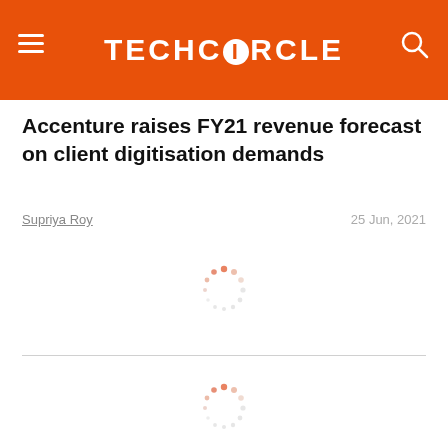TECHCIRCLE
Accenture raises FY21 revenue forecast on client digitisation demands
Supriya Roy
25 Jun, 2021
[Figure (other): Loading spinner graphic (circular dashed loader animation)]
[Figure (other): Loading spinner graphic (circular dashed loader animation)]